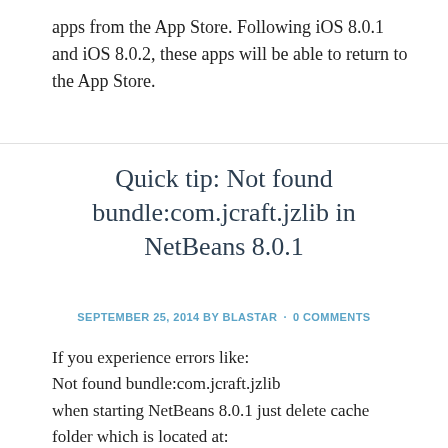apps from the App Store. Following iOS 8.0.1 and iOS 8.0.2, these apps will be able to return to the App Store.
Quick tip: Not found bundle:com.jcraft.jzlib in NetBeans 8.0.1
SEPTEMBER 25, 2014 BY BLASTAR · 0 COMMENTS
If you experience errors like:
Not found bundle:com.jcraft.jzlib
when starting NetBeans 8.0.1 just delete cache folder which is located at:
/Users/jdoe/Library/Caches/NetBeans/
where jdoe is your username